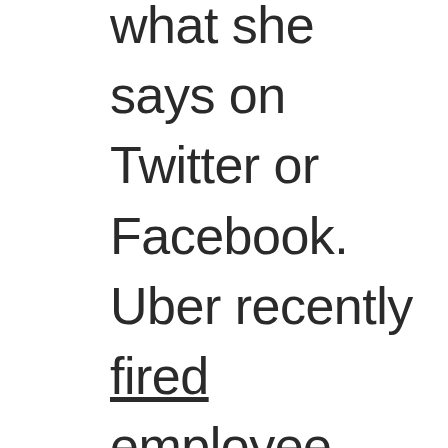what she says on Twitter or Facebook. Uber recently fired employee Christopher Ortiz (oops — "deleted the account" of a